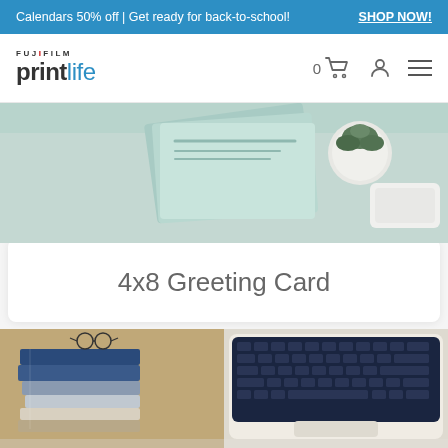Calendars 50% off | Get ready for back-to-school! SHOP NOW!
[Figure (logo): FUJIFILM printlife logo with cart icon, user icon, and hamburger menu]
[Figure (photo): Mint green greeting cards on light teal background with a small succulent plant and white object, top-down view]
4x8 Greeting Card
[Figure (photo): Split bottom image: left side shows stacked books with blue cover and glasses; right side shows dark navy laptop keyboard top-down view]